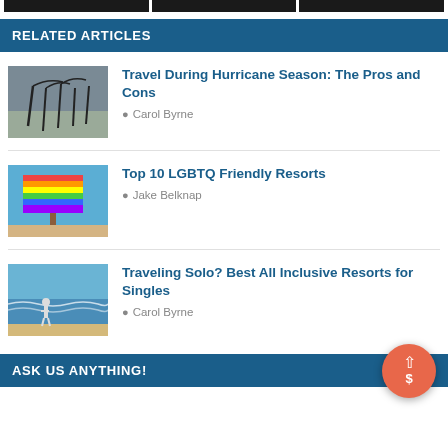[Figure (other): Three dark thumbnail images at the top of the page]
RELATED ARTICLES
[Figure (photo): Photo of palm trees bending in hurricane winds on a beach]
Travel During Hurricane Season: The Pros and Cons
Carol Byrne
[Figure (photo): Photo of a rainbow-colored sign on a beach with blue sky]
Top 10 LGBTQ Friendly Resorts
Jake Belknap
[Figure (photo): Photo of a person standing in ocean waves on a beach]
Traveling Solo? Best All Inclusive Resorts for Singles
Carol Byrne
ASK US ANYTHING!